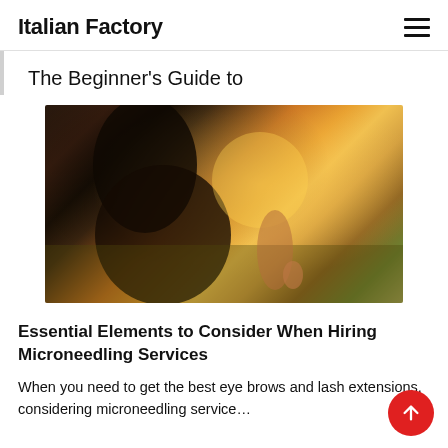Italian Factory
The Beginner's Guide to
[Figure (photo): Woman seen from behind in profile, holding a small object, in a golden sunlit field at sunset]
Essential Elements to Consider When Hiring Microneedling Services
When you need to get the best eye brows and lash extensions, considering microneedling service...